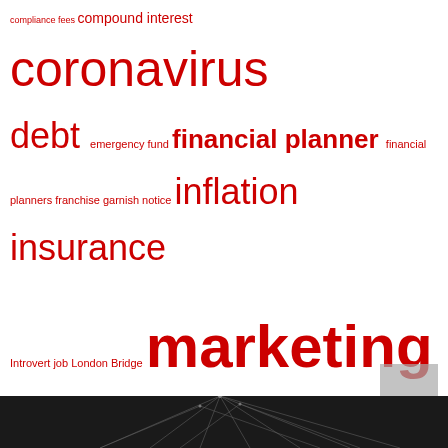[Figure (infographic): Tag cloud of financial and tax-related keywords in varying sizes and red/gray colors. Larger words indicate higher frequency/importance. Terms include: compliance fees, compound interest, coronavirus, debt, emergency fund, financial planner, financial planners, franchise, garnish notice, inflation, insurance, Introvert, job, London Bridge, marketing, myGov, myTax, negative gearing, nurses, outsourcing, performance, phoenix, selling, small business, SMSF, software, student loan, super, tax agent, tax planning, tax rate, tax return, Technology, tips, TPB, turkey]